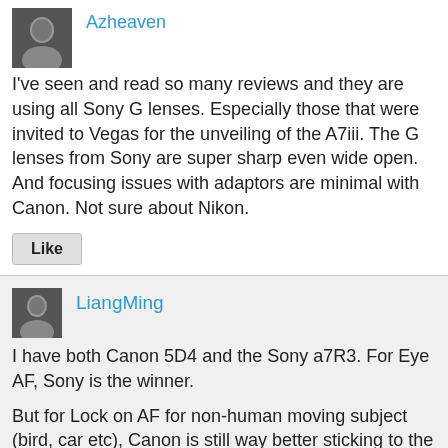[Figure (photo): User avatar thumbnail for Azheaven, small grayscale portrait photo]
Azheaven
I've seen and read so many reviews and they are using all Sony G lenses. Especially those that were invited to Vegas for the unveiling of the A7iii. The G lenses from Sony are super sharp even wide open. And focusing issues with adaptors are minimal with Canon. Not sure about Nikon.
Like
[Figure (photo): User avatar thumbnail for LiangMing, small grayscale portrait photo]
LiangMing
I have both Canon 5D4 and the Sony a7R3. For Eye AF, Sony is the winner.

But for Lock on AF for non-human moving subject (bird, car etc), Canon is still way better sticking to the subject. So forget about using Sony for Bird shooting, Canon (or Nikon) DSLR is still the way to go.
Reply
Like 4